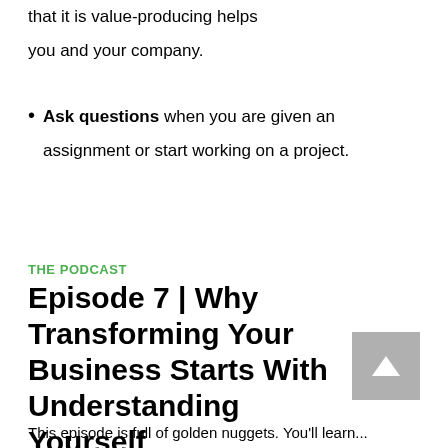that it is value-producing helps you and your company.
Ask questions when you are given an assignment or start working on a project.
THE PODCAST
Episode 7 | Why Transforming Your Business Starts With Understanding Yourself
This episode is full of golden nuggets. You'll learn...